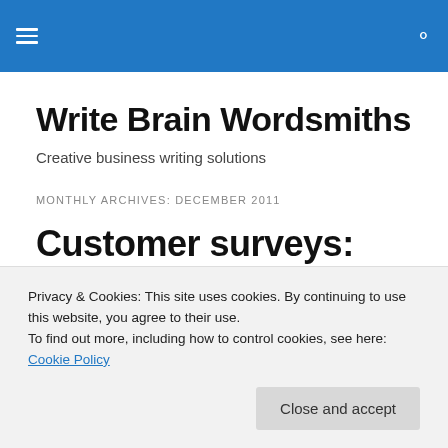Write Brain Wordsmiths — navigation header with hamburger menu and search icon
Write Brain Wordsmiths
Creative business writing solutions
MONTHLY ARCHIVES: DECEMBER 2011
Customer surveys: Well, if you ask me…
Privacy & Cookies: This site uses cookies. By continuing to use this website, you agree to their use.
To find out more, including how to control cookies, see here: Cookie Policy
Close and accept